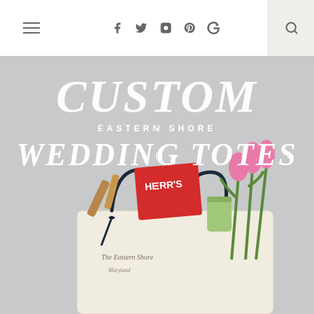Navigation bar with hamburger menu, social icons (Facebook, Twitter, Instagram, Pinterest, Google+), and search icon
[Figure (photo): A canvas wedding tote bag filled with items including pink tulips, Herr's chips, a can, corks, and other gifts. The bag has hand-drawn Eastern Shore Maryland map illustration. Gray background. Overlaid text reads CUSTOM EASTERN SHORE WEDDING TOTES in white serif italic font.]